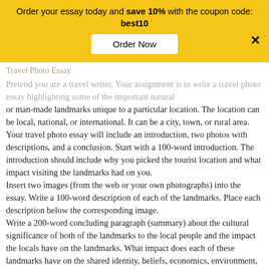Order your essay today and save 10% with the coupon code: best10
Travel Photo Essay
Pretend you are a travel writer. Your assignment is to write a travel photo essay highlighting some of the important natural or man-made landmarks unique to a particular location. The location can be local, national, or international. It can be a city, town, or rural area. Your travel photo essay will include an introduction, two photos with descriptions, and a conclusion. Start with a 100-word introduction. The introduction should include why you picked the tourist location and what impact visiting the landmarks had on you.
Insert two images (from the web or your own photographs) into the essay. Write a 100-word description of each of the landmarks. Place each description below the corresponding image.
Write a 200-word concluding paragraph (summary) about the cultural significance of both of the landmarks to the local people and the impact the locals have on the landmarks. What impact does each of these landmarks have on the shared identity, beliefs, economics, environment, and/or activities of the people